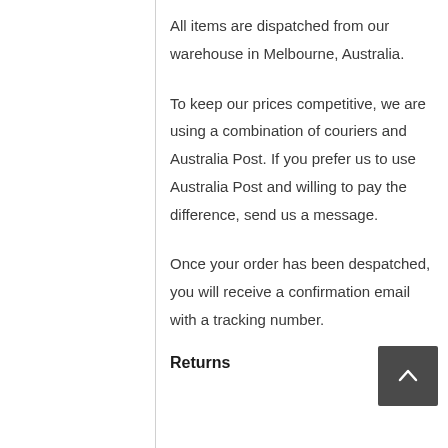All items are dispatched from our warehouse in Melbourne, Australia.
To keep our prices competitive, we are using a combination of couriers and Australia Post. If you prefer us to use Australia Post and willing to pay the difference, send us a message.
Once your order has been despatched, you will receive a confirmation email with a tracking number.
Returns